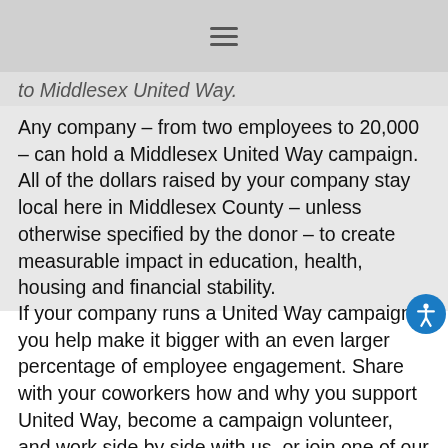≡
to Middlesex United Way.
Any company – from two employees to 20,000 – can hold a Middlesex United Way campaign. All of the dollars raised by your company stay local here in Middlesex County – unless otherwise specified by the donor – to create measurable impact in education, health, housing and financial stability.
If your company runs a United Way campaign, you help make it bigger with an even larger percentage of employee engagement. Share with your coworkers how and why you support United Way, become a campaign volunteer, and work side by side with us, or join one of our affinity groups and meet other like-minded individuals in the community.
Many companies offer special events to get